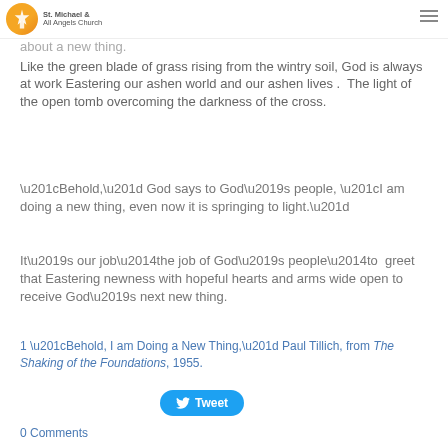St. Michael & All Angels Church
about a new thing.
Like the green blade of grass rising from the wintry soil, God is always at work Eastering our ashen world and our ashen lives .  The light of the open tomb overcoming the darkness of the cross.
“Behold,” God says to God’s people, “I am doing a new thing, even now it is springing to light.”
It’s our job—the job of God’s people—to  greet that Eastering newness with hopeful hearts and arms wide open to receive God’s next new thing.
1 “Behold, I am Doing a New Thing,” Paul Tillich, from The Shaking of the Foundations, 1955.
Tweet
0 Comments